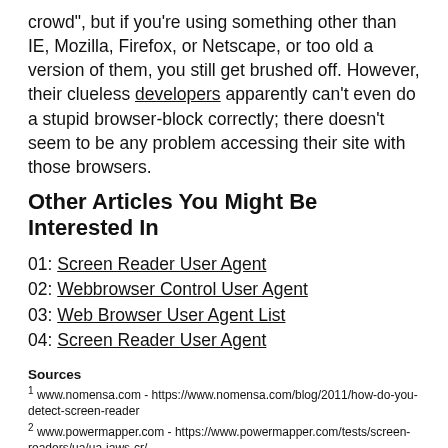crowd", but if you're using something other than IE, Mozilla, Firefox, or Netscape, or too old a version of them, you still get brushed off. However, their clueless developers apparently can't even do a stupid browser-block correctly; there doesn't seem to be any problem accessing their site with those browsers.
Other Articles You Might Be Interested In
01: Screen Reader User Agent
02: Webbrowser Control User Agent
03: Web Browser User Agent List
04: Screen Reader User Agent
Sources
1 www.nomensa.com - https://www.nomensa.com/blog/2011/how-do-you-detect-screen-reader
2 www.powermapper.com - https://www.powermapper.com/tests/screen-readers/ua/ua-jaws-cr/
3 www.powermapper.com - https://www.powermapper.com/tests/screen-readers/ua/ua-jaws-ff/
4 www.w3.org - https://www.w3.org/WAI/standards-guidelines/uaag/